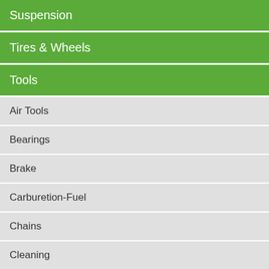Suspension
Tires & Wheels
Tools
Air Tools
Bearings
Brake
Carburetion-Fuel
Chains
Cleaning
Clutch
Compression
Diagnostics